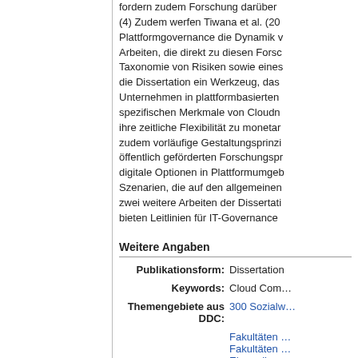fordern zudem Forschung darüber (4) Zudem werfen Tiwana et al. (20 Plattformgovernance die Dynamik v Arbeiten, die direkt zu diesen Forsc Taxonomie von Risiken sowie eines die Dissertation ein Werkzeug, das Unternehmen in plattformbasierten spezifischen Merkmale von Cloudn ihre zeitliche Flexibilität zu monetar zudem vorläufige Gestaltungsprinzi öffentlich geförderten Forschungspr digitale Optionen in Plattformumgeb Szenarien, die auf den allgemeinen zwei weitere Arbeiten der Dissertati bieten Leitlinien für IT-Governance
Weitere Angaben
| Label | Value |
| --- | --- |
| Publikationsform: | Dissertation |
| Keywords: | Cloud Com… |
| Themengebiete aus DDC: | 300 Sozialw… |
|  | Fakultäten … |
|  | Fakultäten … |
|  | Ehemalige … |